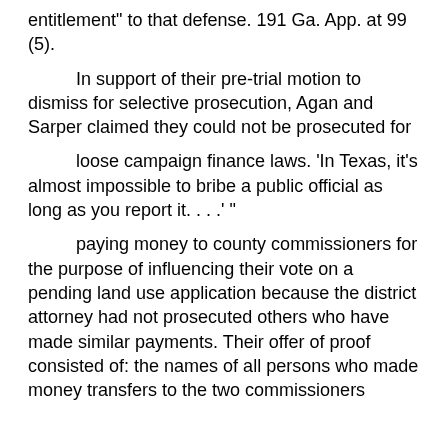entitlement" to that defense. 191 Ga. App. at 99 (5).
In support of their pre-trial motion to dismiss for selective prosecution, Agan and Sarper claimed they could not be prosecuted for
loose campaign finance laws. 'In Texas, it's almost impossible to bribe a public official as long as you report it. . . .' "
paying money to county commissioners for the purpose of influencing their vote on a pending land use application because the district attorney had not prosecuted others who have made similar payments. Their offer of proof consisted of: the names of all persons who made money transfers to the two commissioners